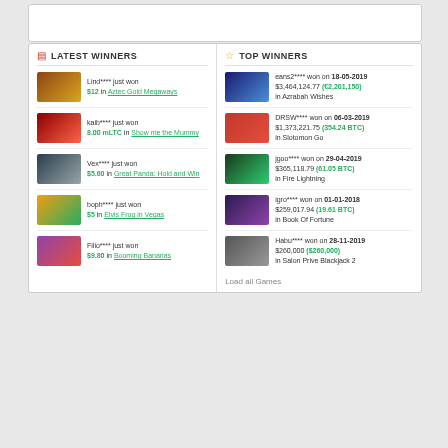LATEST WINNERS
Lind**** just won $12 in Aztec Gold Megaways
kaib**** just won 8.00 mLTC in Show me the Mummy
Vex**** just won $5.60 in Great Panda: Hold and Win
boph**** just won $5 in Elvis Frog in Vegas
Filio**** just won $9.80 in Booming Bananas
TOP WINNERS
eans2**** won on 18-05-2019 $3,464,124.77 (€2,201,150) in Azrabah Wishes
DRSW**** won on 06-03-2019 $1,373,221.75 (354.24 BTC) in Slotomon Go
jgoo**** won on 29-04-2019 $365,118.79 (61.05 BTC) in Fire Lightning
igro**** won on 01-01-2018 $259,017.94 (19.61 BTC) in Book Of Fortune
Habu**** won on 28-11-2019 $260,000 ($260,000) in Salon Prive Blackjack 2
Load all Games